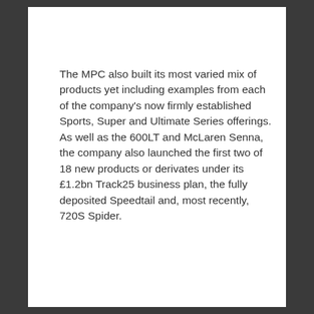The MPC also built its most varied mix of products yet including examples from each of the company's now firmly established Sports, Super and Ultimate Series offerings. As well as the 600LT and McLaren Senna, the company also launched the first two of 18 new products or derivates under its £1.2bn Track25 business plan, the fully deposited Speedtail and, most recently, 720S Spider.